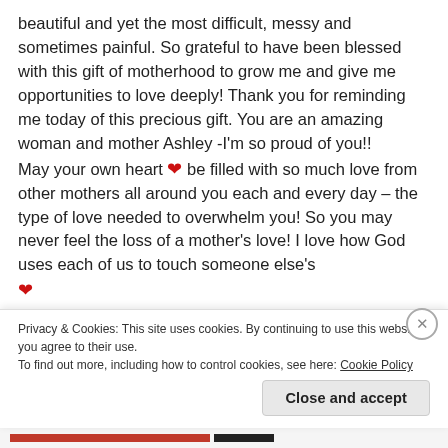beautiful and yet the most difficult, messy and sometimes painful. So grateful to have been blessed with this gift of motherhood to grow me and give me opportunities to love deeply! Thank you for reminding me today of this precious gift. You are an amazing woman and mother Ashley -I'm so proud of you!!
May your own heart ❤ be filled with so much love from other mothers all around you each and every day – the type of love needed to overwhelm you! So you may never feel the loss of a mother's love! I love how God uses each of us to touch someone else's ❤
Privacy & Cookies: This site uses cookies. By continuing to use this website, you agree to their use.
To find out more, including how to control cookies, see here: Cookie Policy
Close and accept